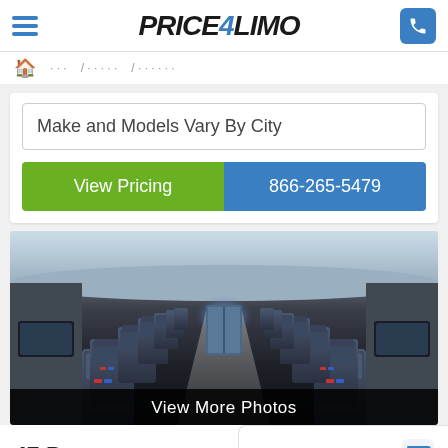PRICE4LIMO
Make and Models Vary By City
View Pricing
866-265-5479
[Figure (photo): Interior view of a charter/motor coach bus showing rows of dark blue seats stretching toward the front, with overhead luggage compartments and monitors visible on the sides.]
View More Photos
47 Passenger
Chat now